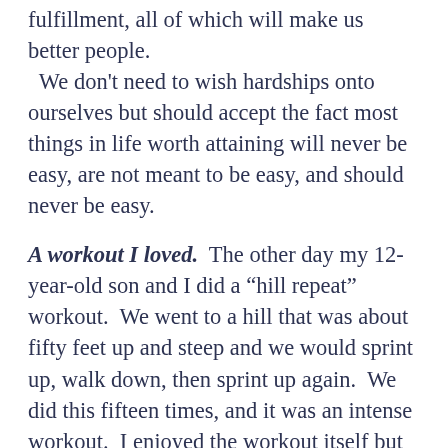fulfillment, all of which will make us better people.  We don't need to wish hardships onto ourselves but should accept the fact most things in life worth attaining will never be easy, are not meant to be easy, and should never be easy.
A workout I loved.  The other day my 12-year-old son and I did a “hill repeat” workout.  We went to a hill that was about fifty feet up and steep and we would sprint up, walk down, then sprint up again.  We did this fifteen times, and it was an intense workout.  I enjoyed the workout itself but particularly enjoyed it because of what I saw in my son.
First, it made me incredibly happy to be reminded that he is someone that can get through challenges